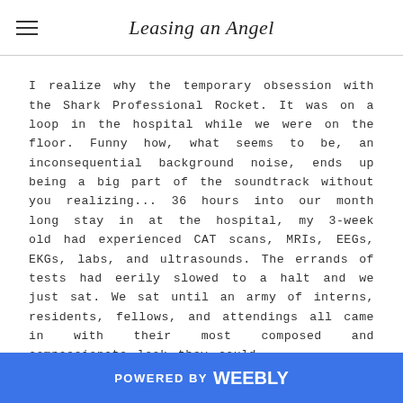Leasing an Angel
I realize why the temporary obsession with the Shark Professional Rocket. It was on a loop in the hospital while we were on the floor. Funny how, what seems to be, an inconsequential background noise, ends up being a big part of the soundtrack without you realizing... 36 hours into our month long stay in at the hospital, my 3-week old had experienced CAT scans, MRIs, EEGs, EKGs, labs, and ultrasounds. The errands of tests had eerily slowed to a halt and we just sat. We sat until an army of interns, residents, fellows, and attendings all came in with their most composed and compassionate look they could
POWERED BY weebly